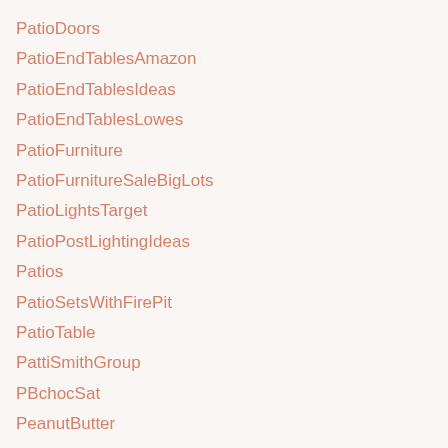PatioDoors
PatioEndTablesAmazon
PatioEndTablesIdeas
PatioEndTablesLowes
PatioFurniture
PatioFurnitureSaleBigLots
PatioLightsTarget
PatioPostLightingIdeas
Patios
PatioSetsWithFirePit
PatioTable
PattiSmithGroup
PBchocSat
PeanutButter